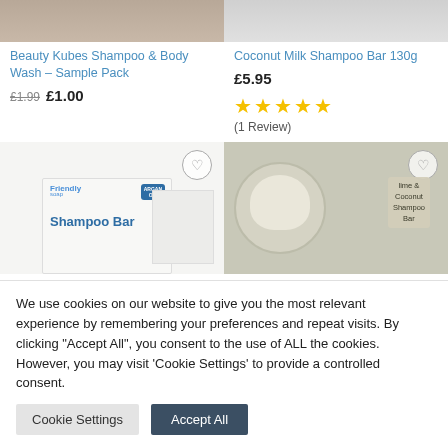[Figure (photo): Top portion of two product images cropped at the top]
Beauty Kubes Shampoo & Body Wash – Sample Pack
£1.99  £1.00
Coconut Milk Shampoo Bar 130g
£5.95
[Figure (other): Five gold star rating icons]
(1 Review)
[Figure (photo): Friendly Soap Shampoo Bar product image with Argan Oil badge]
[Figure (photo): Lime & Coconut Shampoo Bar product photo]
We use cookies on our website to give you the most relevant experience by remembering your preferences and repeat visits. By clicking "Accept All", you consent to the use of ALL the cookies. However, you may visit 'Cookie Settings' to provide a controlled consent.
Cookie Settings
Accept All